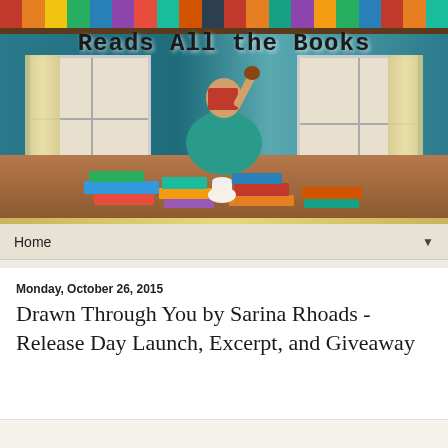[Figure (photo): Blog header banner for 'Reads All the Books' showing a woman in a teal dress sitting on a wooden floor surrounded by stacks of books, holding a red book up and raising her fist, with bookshelves visible at top and teal walls with windows and curtains in the background. The blog title 'Reads All the Books' is displayed in typewriter-style font over the image.]
Home ▼
Monday, October 26, 2015
Drawn Through You by Sarina Rhoads - Release Day Launch, Excerpt, and Giveaway